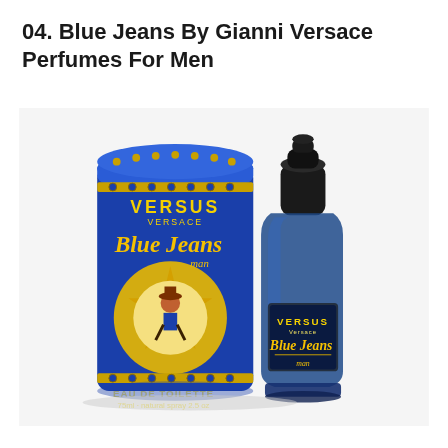04. Blue Jeans By Gianni Versace Perfumes For Men
[Figure (photo): Photo of Blue Jeans by Gianni Versace (Versus Versace) men's cologne set showing a blue cylindrical tin canister with gold star, VERSUS VERSACE branding and Blue Jeans Man label, alongside a blue glass bottle with dark cap also labeled VERSUS Blue Jeans. Bottom of canister reads EAU DE TOILETTE 75ml natural spray 2.5 oz.]